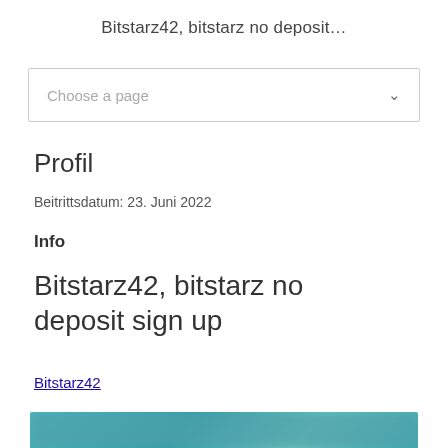Bitstarz42, bitstarz no deposit…
[Figure (screenshot): Dropdown selector with placeholder text 'Choose a page' and a chevron icon]
Profil
Beitrittsdatum: 23. Juni 2022
Info
Bitstarz42, bitstarz no deposit sign up
Bitstarz42
[Figure (photo): Blurred/partially visible image at the bottom of the page with teal/blue tones]